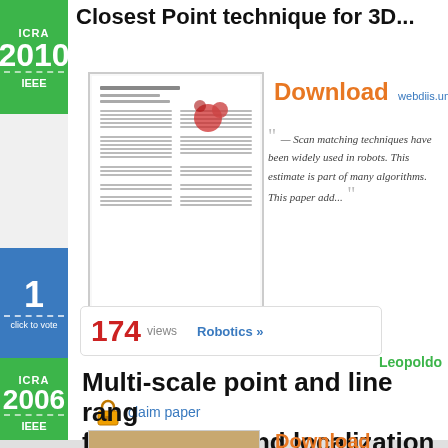Closest Point technique for 3D...
[Figure (photo): Thumbnail of academic paper with two-column layout and a red point cloud illustration]
Download   webdiis.unizar.es
— Scan matching techniques have been widely used in robots. This estimate is part of many algorithms. This paper add...
Leopoldo
claim paper
174 views   Robotics »
Multi-scale point and line rang for mapping and localization
Download   robotics.caltech.edu